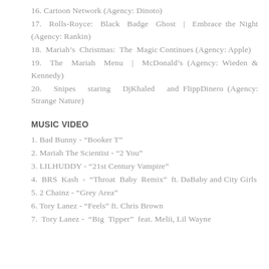16. Cartoon Network (Agency: Dinoto)
17. Rolls-Royce: Black Badge Ghost | Embrace the Night (Agency: Rankin)
18. Mariah's Christmas: The Magic Continues (Agency: Apple)
19. The Mariah Menu | McDonald's (Agency: Wieden & Kennedy)
20. Snipes staring DjKhaled and FlippDinero (Agency: Strange Nature)
MUSIC VIDEO
1. Bad Bunny - “Booker T”
2. Mariah The Scientist - “2 You”
3. LILHUDDY - “21st Century Vampire”
4. BRS Kash - “Throat Baby Remix” ft. DaBaby and City Girls
5. 2 Chainz - “Grey Area”
6. Tory Lanez - “Feels” ft. Chris Brown
7. Tory Lanez - “Big Tipper” feat. Melii, Lil Wayne